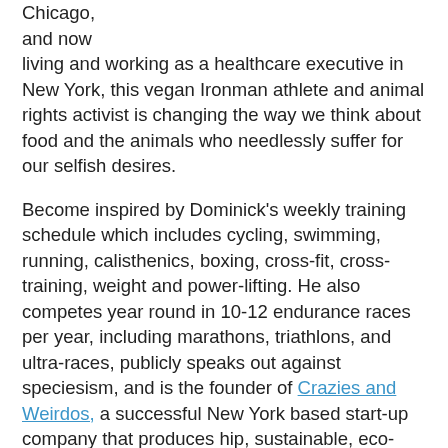Chicago, and now living and working as a healthcare executive in New York, this vegan Ironman athlete and animal rights activist is changing the way we think about food and the animals who needlessly suffer for our selfish desires.
Become inspired by Dominick's weekly training schedule which includes cycling, swimming, running, calisthenics, boxing, cross-fit, cross-training, weight and power-lifting. He also competes year round in 10-12 endurance races per year, including marathons, triathlons, and ultra-races, publicly speaks out against speciesism, and is the founder of Crazies and Weirdos, a successful New York based start-up company that produces hip, sustainable, eco-friendly clothing dedicated to the animal rights movement.
Dom has received global recognition and has been featured in NPR News, ABC News, Men's Muscle and Fitness Magazine, Esquire, Thrive Magazine, Origins Magazine, PETA